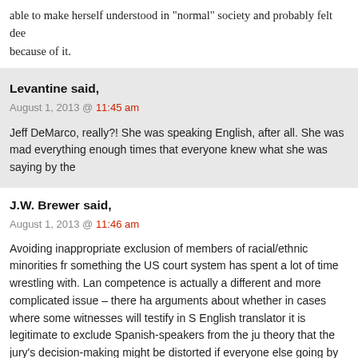able to make herself understood in "normal" society and probably felt dee because of it.
Levantine said,
August 1, 2013 @ 11:45 am

Jeff DeMarco, really?! She was speaking English, after all. She was mad everything enough times that everyone knew what she was saying by the
J.W. Brewer said,
August 1, 2013 @ 11:46 am

Avoiding inappropriate exclusion of members of racial/ethnic minorities fr something the US court system has spent a lot of time wrestling with. Lan competence is actually a different and more complicated issue – there ha arguments about whether in cases where some witnesses will testify in S English translator it is legitimate to exclude Spanish-speakers from the ju theory that the jury's decision-making might be distorted if everyone else going by the what the translator said the testimony was but two or three c jurors would be able to form their own view as to what the testimony reall argue to their fellow jurors that the translator had gotten it wrong. At leas have said trying to remove jurors on that basis is not the same as trying t them based on Hispanic ethnic identity despite the positive statistical co